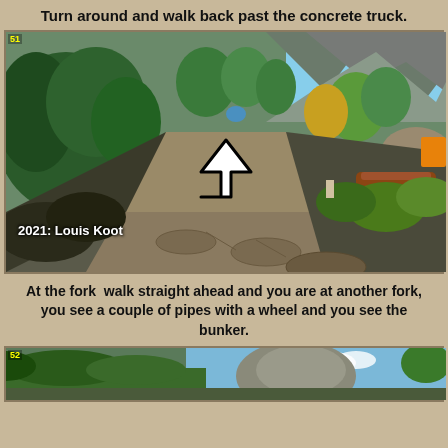Turn around and walk back past the concrete truck.
[Figure (screenshot): Video game screenshot showing a dirt path through a wooded area with rocks and vegetation. A white upward arrow is overlaid in the center. HUD element '51' shown top-left. Watermark '2021: Louis Koot' in bottom left.]
At the fork  walk straight ahead and you are at another fork, you see a couple of pipes with a wheel and you see the bunker.
[Figure (screenshot): Video game screenshot (partial, bottom of page) showing a rocky outdoor scene with grass and sky. HUD element '52' shown top-left.]